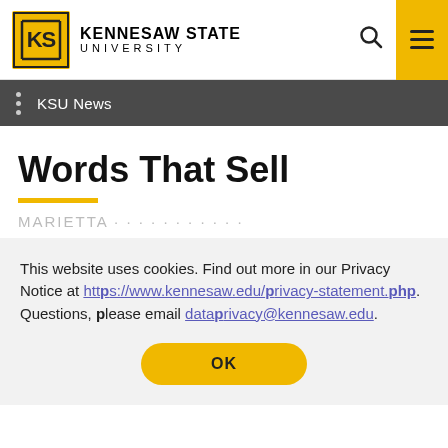KENNESAW STATE UNIVERSITY
KSU News
Words That Sell
This website uses cookies. Find out more in our Privacy Notice at https://www.kennesaw.edu/privacy-statement.php. Questions, please email dataprivacy@kennesaw.edu.